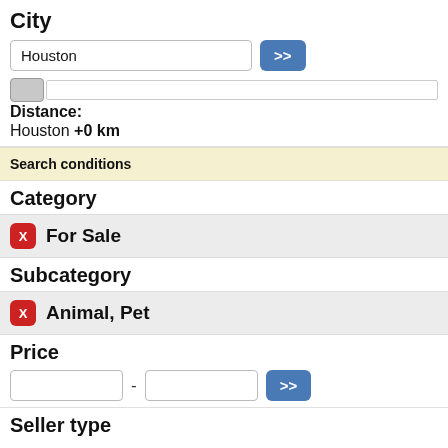City
Houston >>
Distance: Houston +0 km
Search conditions
Category
X For Sale
Subcategory
X Animal, Pet
Price
- >>
Seller type
Individual
Business / Professional